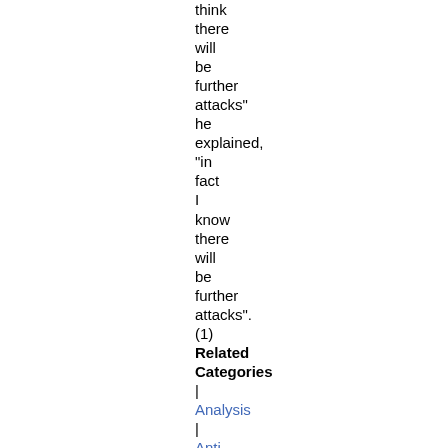think there will be further attacks" he explained, "in fact I know there will be further attacks". (1)
Related Categories
| Analysis | Anti-racism | Repression | Terror War | | London